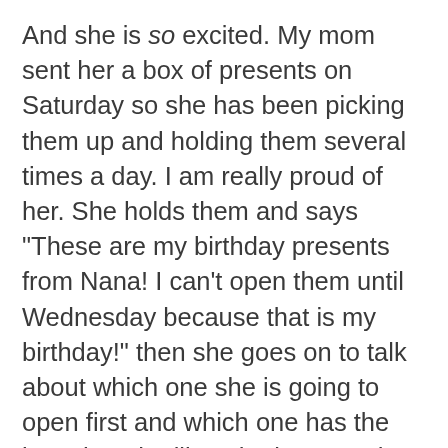And she is so excited. My mom sent her a box of presents on Saturday so she has been picking them up and holding them several times a day. I am really proud of her. She holds them and says "These are my birthday presents from Nana! I can't open them until Wednesday because that is my birthday!" then she goes on to talk about which one she is going to open first and which one has the bow that she likes the best......she really is showing a lot of restraint! I haven't had to stop her from ripping paper yet, but I know that they will have to be opened first thing in the morning or she just might explode! And that is never a good thing to happen on your birthday.
The other exciting thing is that her...